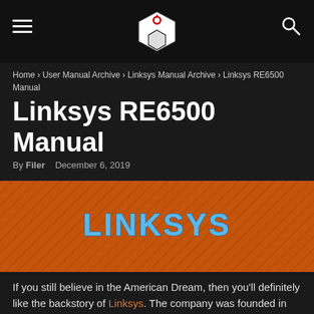☰  [logo]  🔍
Home › User Manual Archive › Linksys Manual Archive › Linksys RE6500 Manual
Linksys RE6500 Manual
By Filer   December 6, 2019
[Figure (illustration): Orange textured banner with LINKSYS logo text in blue metallic lettering centered on it]
If you still believe in the American Dream, then you'll definitely like the backstory of Linksys. The company was founded in 1988 by a Taiwanese couple that immigrated to the US. Back in the days they focused on networking devices, mostly on a smaller scale, where they successfully